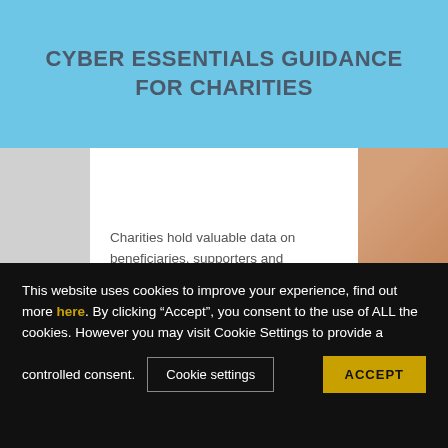CYBER ESSENTIALS GUIDANCE FOR CHARITIES
Charities hold valuable data on beneficiaries, supporters and volunteers as well as invoice and payment details. Criminals attack charities via the internet in the same way as they attack other organisations, seeking to steal information and money, deliver ransomware into their network or access their email account to impersonate them.
This website uses cookies to improve your experience, find out more here. By clicking “Accept”, you consent to the use of ALL the cookies. However you may visit Cookie Settings to provide a controlled consent.